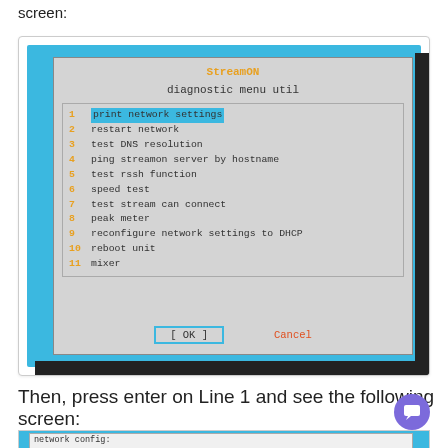screen:
[Figure (screenshot): StreamON diagnostic menu util terminal window showing a numbered list: 1 print network settings (highlighted), 2 restart network, 3 test DNS resolution, 4 ping streamon server by hostname, 5 test rssh function, 6 speed test, 7 test stream can connect, 8 peak meter, 9 reconfigure network settings to DHCP, 10 reboot unit, 11 mixer. OK and Cancel buttons at bottom.]
Then, press enter on Line 1 and see the following screen:
[Figure (screenshot): Partial screenshot of a terminal showing 'network config:' text at top left.]